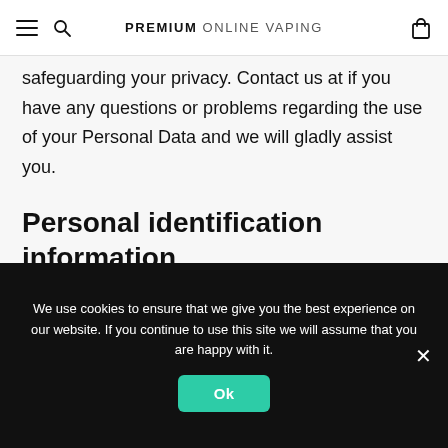PREMIUM ONLINE VAPING
safeguarding your privacy. Contact us at if you have any questions or problems regarding the use of your Personal Data and we will gladly assist you.
Personal identification information
We may collect personal identification
We use cookies to ensure that we give you the best experience on our website. If you continue to use this site we will assume that you are happy with it.